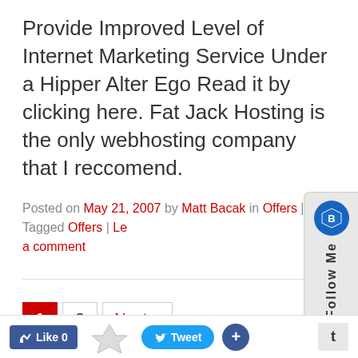Provide Improved Level of Internet Marketing Service Under a Hipper Alter Ego Read it by clicking here. Fat Jack Hosting is the only webhosting company that I reccomend.
Posted on May 21, 2007 by Matt Bacak in Offers | Tagged Offers | Leave a comment
[Figure (other): Pagination controls: active page 1 (red background), page 2, Next button]
[Figure (other): Follow Me sidebar widget with blue shield icon]
[Figure (other): Bottom social bar with Like 0, Tweet, Plus, and t buttons]